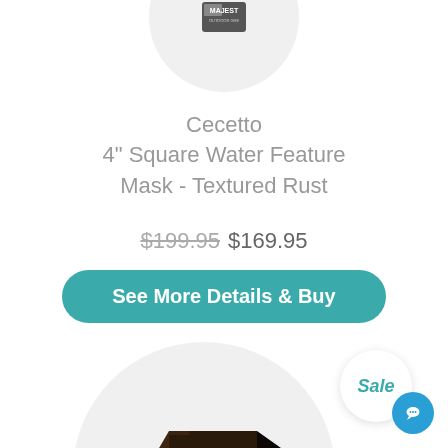[Figure (logo): Majesty outdoor logo at top in circular grey area]
Cecetto
4" Square Water Feature Mask - Textured Rust
$199.95 $169.95
See More Details & Buy
Sale
[Figure (photo): Dark brown/black angular square water feature mask product photo inside circular grey area]
[Figure (logo): Majesty outdoor logo at bottom of product circle]